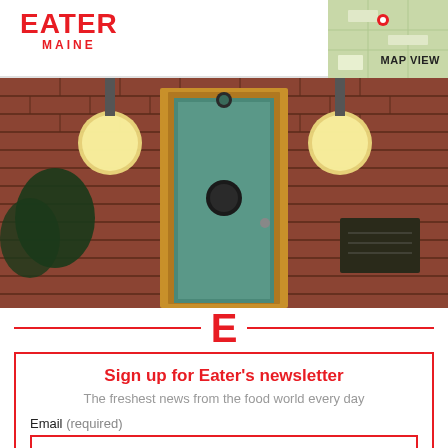EATER MAINE
MAP VIEW
[Figure (photo): Exterior brick wall with a green door framed in ornate wood trim with a circular porthole window, flanked by two globe light fixtures]
Sign up for Eater's newsletter
The freshest news from the food world every day
Email (required)